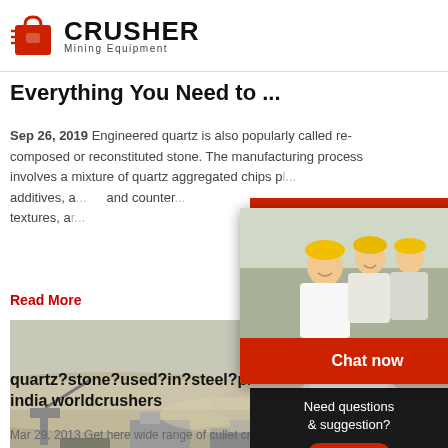CRUSHER Mining Equipment
Everything You Need to ...
Sep 26, 2019  Engineered quartz is also popularly called re-composed or reconstituted stone. The manufacturing process involves a mixture of quartz aggregated chips pl... additives, a... and counter... textures, ar...
Read More
[Figure (photo): Aerial view of mining/quarry site with industrial equipment and dusty landscape]
quartz?stone?used?in?steel?plan... india worldcrushers
Mar 29, 2013  Get here wide range of cullet crusher, slag...
[Figure (infographic): Live chat popup overlay with construction workers image, LIVE CHAT text, Click for a Free Consultation, Chat now and Chat later buttons]
[Figure (infographic): Right sidebar: 24Hrs Online banner, customer service agent with headset image, Need questions & suggestion chat panel with Chat Now button, Enquiry link, limingjlmofen@sina.com email]